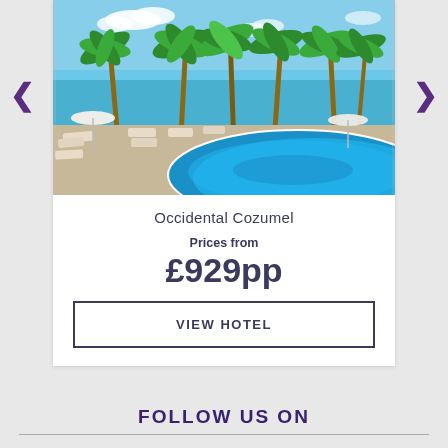[Figure (photo): Hotel pool area with palm trees, lounge chairs, beach umbrellas, and blue pool water under a bright sky]
Occidental Cozumel
Prices from
£929pp
VIEW HOTEL
FOLLOW US ON